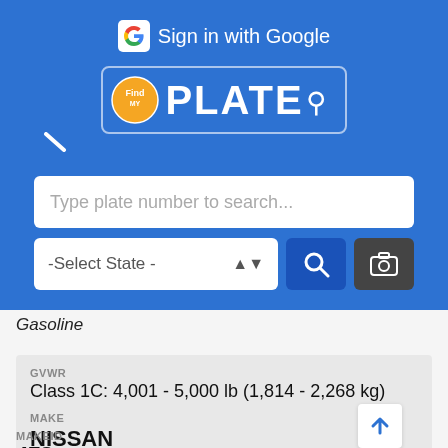Sign in with Google
[Figure (logo): FindMyPlate app logo with magnifying glass and PLATE text]
Type plate number to search...
-Select State -
Gasoline
GVWR
Class 1C: 4,001 - 5,000 lb (1,814 - 2,268 kg)
MAKE
NISSAN
MAKEID
478